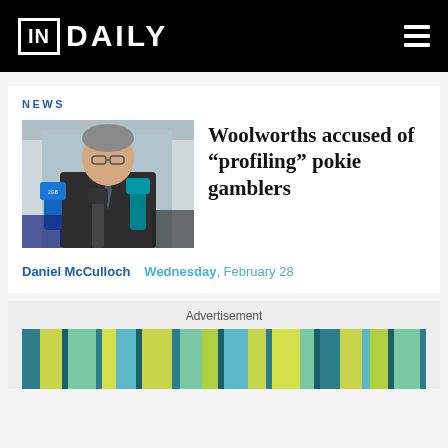IN DAILY
NEWS
[Figure (photo): A middle-aged man in a dark suit and striped tie speaking into microphones labeled 2GB at a press conference outdoors]
Woolworths accused of "profiling" pokie gamblers
Daniel McCulloch   Wednesday, February 28
Advertisement
[Figure (other): Colorful striped advertisement banner in teal, green, yellow and blue vertical stripes]